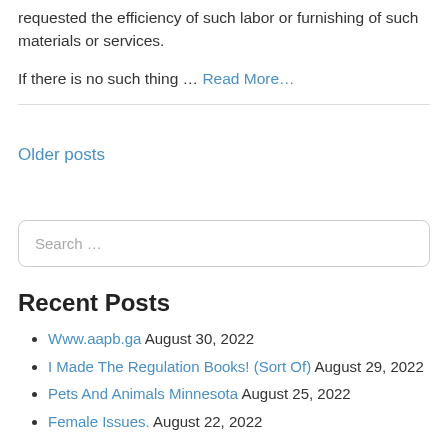requested the efficiency of such labor or furnishing of such materials or services.
If there is no such thing … Read More…
Older posts
Search …
Recent Posts
Www.aapb.ga August 30, 2022
I Made The Regulation Books! (Sort Of) August 29, 2022
Pets And Animals Minnesota August 25, 2022
Female Issues. August 22, 2022